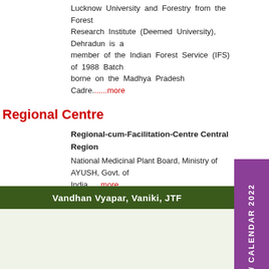Lucknow University and Forestry from the Forest Research Institute (Deemed University), Dehradun is a member of the Indian Forest Service (IFS) of 1988 Batch borne on the Madhya Pradesh Cadre......more
Regional Centre
Regional-cum-Facilitation-Centre Central Region
National Medicinal Plant Board, Ministry of AYUSH, Govt. of India .....more
Vandhan Vyapar, Vaniki, JTF
DIARY / CALENDAR 2022